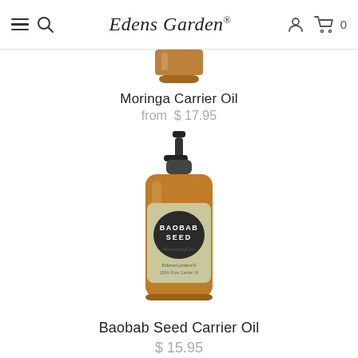Edens Garden
Moringa Carrier Oil
from $ 17.95
[Figure (photo): Amber glass pump bottle with Baobab Seed label from Edens Garden carrier oil product]
Baobab Seed Carrier Oil
$ 15.95
[Figure (photo): Partial view of another amber glass pump bottle at the bottom of the page, with accessibility icon button overlay]